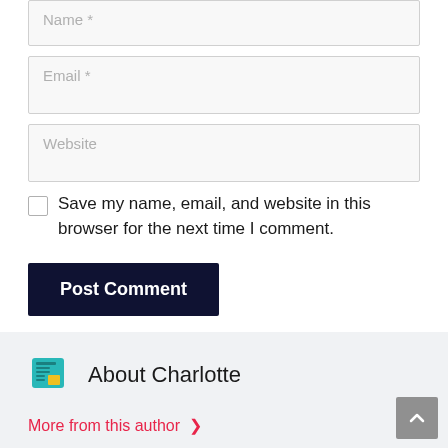Name *
Email *
Website
Save my name, email, and website in this browser for the next time I comment.
Post Comment
[Figure (illustration): Newspaper/document icon in teal and yellow colors representing Charlotte author avatar]
About Charlotte
More from this author >